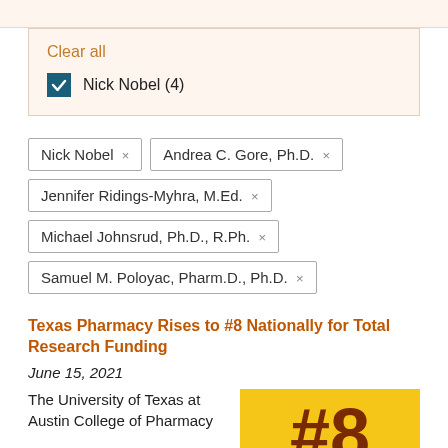Clear all
Nick Nobel (4)
Nick Nobel ×
Andrea C. Gore, Ph.D. ×
Jennifer Ridings-Myhra, M.Ed. ×
Michael Johnsrud, Ph.D., R.Ph. ×
Samuel M. Poloyac, Pharm.D., Ph.D. ×
Texas Pharmacy Rises to #8 Nationally for Total Research Funding
June 15, 2021
The University of Texas at Austin College of Pharmacy
[Figure (other): Yellow badge with #8 in dark red bold text]